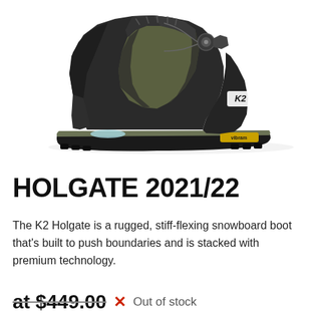[Figure (photo): K2 Holgate snowboard boot photographed from the side, showing black upper with olive/army green mesh panels, K2 logo on heel, Vibram sole branding, and light blue accent on the insole area.]
HOLGATE 2021/22
The K2 Holgate is a rugged, stiff-flexing snowboard boot that's built to push boundaries and is stacked with premium technology.
at $449.00 ✕ Out of stock